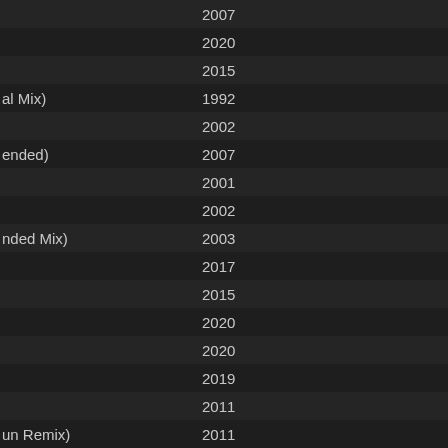| Name (partial) | Year |  |
| --- | --- | --- |
|  | 2007 |  |
|  | 2020 |  |
|  | 2015 |  |
| al Mix) | 1992 |  |
|  | 2002 |  |
| ended) | 2007 |  |
|  | 2001 |  |
|  | 2002 |  |
| nded Mix) | 2003 |  |
|  | 2017 |  |
|  | 2015 |  |
|  | 2020 |  |
|  | 2020 |  |
|  | 2019 |  |
|  | 2011 |  |
| un Remix) | 2011 |  |
|  | 2019 |  |
|  | 2019 |  |
|  | 2013 |  |
|  | 2014 |  |